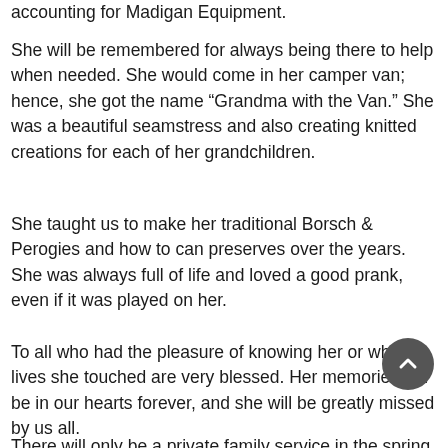accounting for Madigan Equipment.
She will be remembered for always being there to help when needed. She would come in her camper van; hence, she got the name “Grandma with the Van.” She was a beautiful seamstress and also creating knitted creations for each of her grandchildren.
She taught us to make her traditional Borsch & Perogies and how to can preserves over the years. She was always full of life and loved a good prank, even if it was played on her.
To all who had the pleasure of knowing her or whose lives she touched are very blessed. Her memories will be in our hearts forever, and she will be greatly missed by us all.
There will only be a private family service in the spring of